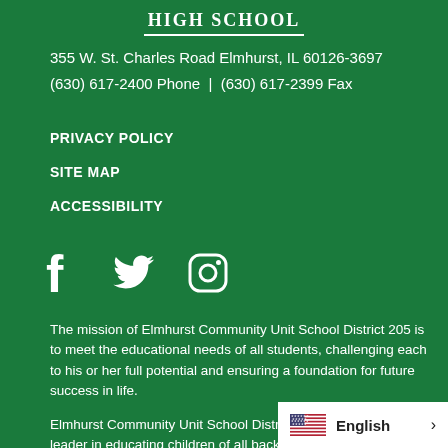HIGH SCHOOL
355 W. St. Charles Road Elmhurst, IL 60126-3697
(630) 617-2400 Phone  |  (630) 617-2399 Fax
PRIVACY POLICY
SITE MAP
ACCESSIBILITY
[Figure (illustration): Social media icons: Facebook, Twitter, Instagram]
The mission of Elmhurst Community Unit School District 205 is to meet the educational needs of all students, challenging each to his or her full potential and ensuring a foundation for future success in life.
Elmhurst Community Unit School District 205 will be a national leader in educating children of all backgrounds and ability levels, promoting high individual student achievement. The District will incorporate student-centered decision making, the highest academic st... in education, the highest caliber educational profe...
[Figure (infographic): Language selector widget showing US flag and English text with arrow]